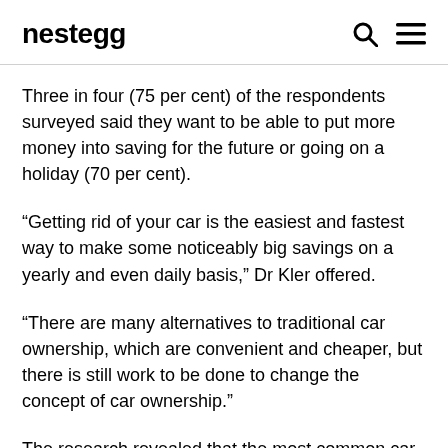nestegg
Three in four (75 per cent) of the respondents surveyed said they want to be able to put more money into saving for the future or going on a holiday (70 per cent).
“Getting rid of your car is the easiest and fastest way to make some noticeably big savings on a yearly and even daily basis,” Dr Kler offered.
“There are many alternatives to traditional car ownership, which are convenient and cheaper, but there is still work to be done to change the concept of car ownership.”
The research revealed that the most common car trips